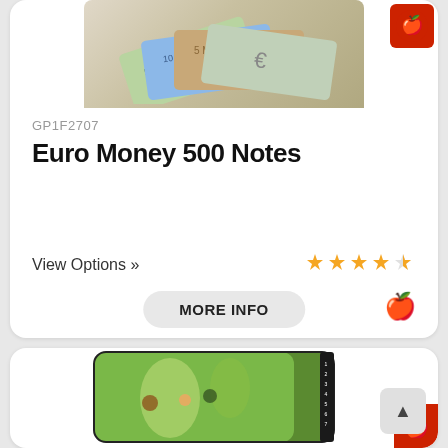[Figure (photo): Product photo of Euro Money 500 Notes, showing fanned euro banknotes on light background]
GP1F2707
Euro Money 500 Notes
View Options »
[Figure (infographic): Star rating: 4 out of 5 stars (4 filled, 1 half)]
MORE INFO
[Figure (photo): Product image of a mousepad featuring a Seurat painting (A Sunday on La Grande Jatte), rectangular card with calendar numbers on the right side]